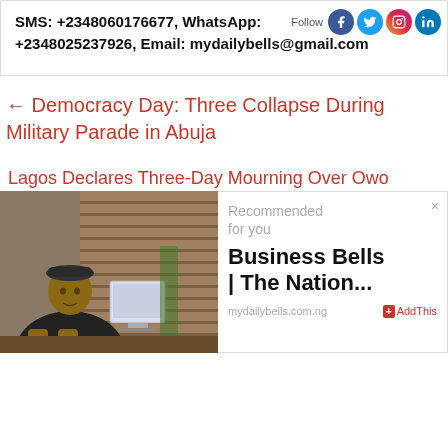SMS: +2348060176677, WhatsApp: +2348025237926, Email: mydailybells@gmail.com
Follow
← Democracy Day: Three Collapse During Military Parade in Abuja
Lagos Declares Three-Day Mourning Over Owo
[Figure (photo): Man in dark traditional attire seated at a desk in an office with wooden blinds in the background]
Recommended for you
Business Bells | The Nation...
mydailybells.com.ng
AddThis